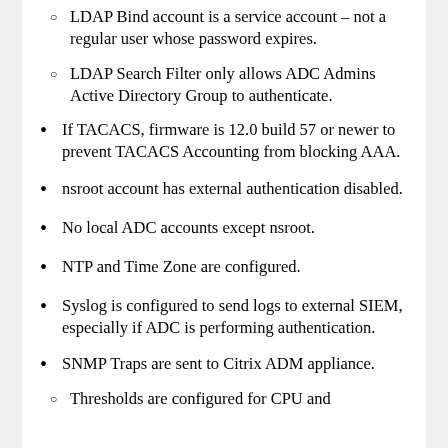LDAP Bind account is a service account – not a regular user whose password expires.
LDAP Search Filter only allows ADC Admins Active Directory Group to authenticate.
If TACACS, firmware is 12.0 build 57 or newer to prevent TACACS Accounting from blocking AAA.
nsroot account has external authentication disabled.
No local ADC accounts except nsroot.
NTP and Time Zone are configured.
Syslog is configured to send logs to external SIEM, especially if ADC is performing authentication.
SNMP Traps are sent to Citrix ADM appliance.
Thresholds are configured for CPU and